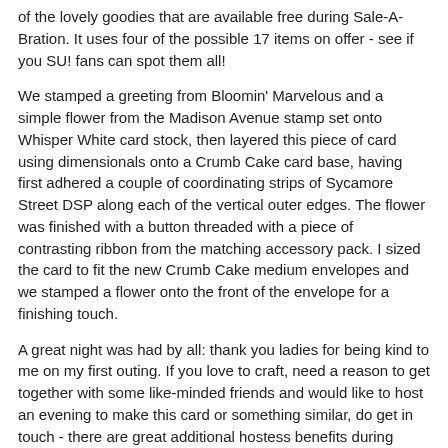of the lovely goodies that are available free during Sale-A-Bration. It uses four of the possible 17 items on offer - see if you SU! fans can spot them all!
We stamped a greeting from Bloomin' Marvelous and a simple flower from the Madison Avenue stamp set onto Whisper White card stock, then layered this piece of card using dimensionals onto a Crumb Cake card base, having first adhered a couple of coordinating strips of Sycamore Street DSP along each of the vertical outer edges. The flower was finished with a button threaded with a piece of contrasting ribbon from the matching accessory pack. I sized the card to fit the new Crumb Cake medium envelopes and we stamped a flower onto the front of the envelope for a finishing touch.
A great night was had by all: thank you ladies for being kind to me on my first outing. If you love to craft, need a reason to get together with some like-minded friends and would like to host an evening to make this card or something similar, do get in touch - there are great additional hostess benefits during Sale-A-Bration too, the perfect way to grow your own craft stash!
Until next time, happy stampin'!